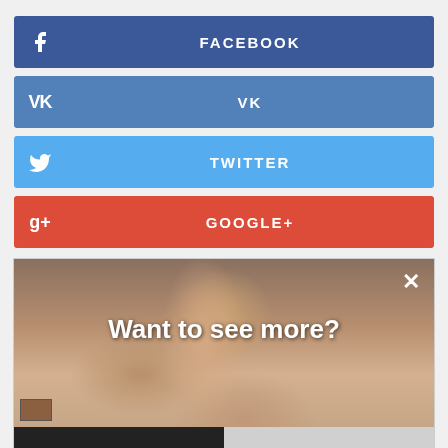[Figure (screenshot): Facebook social share button, blue background with Facebook icon and FACEBOOK text]
[Figure (screenshot): VK social share button, steel blue background with VK icon and VK text]
[Figure (screenshot): Twitter social share button, light blue background with Twitter bird icon and TWITTER text]
[Figure (screenshot): Google+ social share button, red background with G+ icon and GOOGLE+ text]
[Figure (screenshot): Age-gate overlay on adult content image with 'Want to see more?' prompt and Yes!/no buttons]